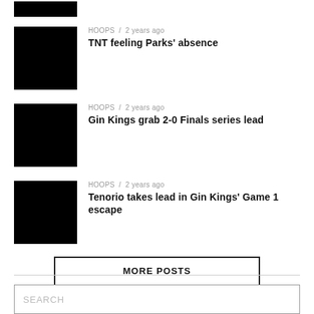[Figure (photo): Black thumbnail image (partially visible at top)]
HOOPS / 2 years ago
TNT feeling Parks’ absence
[Figure (photo): Black thumbnail image]
HOOPS / 2 years ago
Gin Kings grab 2-0 Finals series lead
[Figure (photo): Black thumbnail image]
HOOPS / 2 years ago
Tenorio takes lead in Gin Kings’ Game 1 escape
MORE POSTS
SEARCH